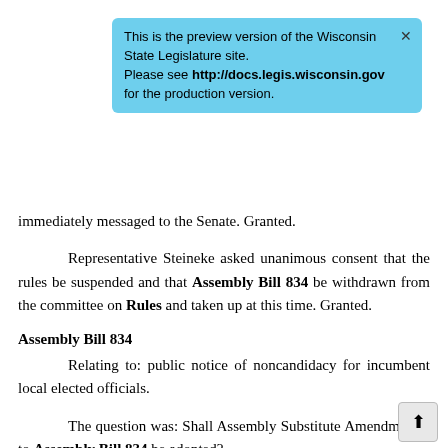[Figure (screenshot): Preview banner overlay in light blue, stating: 'This is the preview version of the Wisconsin State Legislature site. Please see http://docs.legis.wisconsin.gov for the production version.' with a close X button.]
immediately messaged to the Senate. Granted.
Representative Steineke asked unanimous consent that the rules be suspended and that Assembly Bill 834 be withdrawn from the committee on Rules and taken up at this time. Granted.
Assembly Bill 834
Relating to: public notice of noncandidacy for incumbent local elected officials.
The question was: Shall Assembly Substitute Amendment 1 to Assembly Bill 834 be adopted?